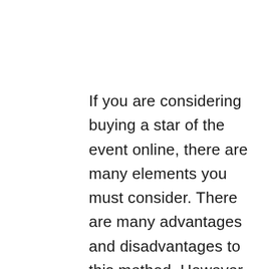If you are considering buying a star of the event online, there are many elements you must consider. There are many advantages and disadvantages to this method. However , for anyone who is serious about marrying another woman, you must first consider the disadvantages. There are many dangers to buy the bride online. While many people discover it risky, there are other benefits to this, including cheaper wedding...